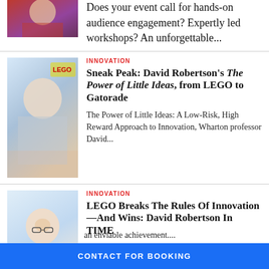[Figure (photo): Person in red clothing, partial view at top]
Does your event call for hands-on audience engagement? Expertly led workshops? An unforgettable...
[Figure (photo): Man speaking at event, LEGO backdrop]
INNOVATION
Sneak Peak: David Robertson's The Power of Little Ideas, from LEGO to Gatorade
The Power of Little Ideas: A Low-Risk, High Reward Approach to Innovation, Wharton professor David...
[Figure (photo): Man with glasses, smiling, professional headshot]
INNOVATION
LEGO Breaks The Rules Of Innovation—And Wins: David Robertson In TIME
Effectively fostering a culture of an enviable achievement....
CONTACT FOR BOOKING